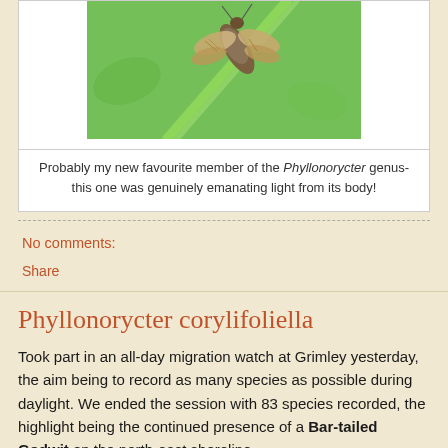[Figure (photo): Close-up photo of a moth (Phyllonorycter genus) on a green stem, with wings spread showing detailed wing patterns, against a blurred green background.]
Probably my new favourite member of the Phyllonorycter genus- this one was genuinely emanating light from its body!
No comments:
Share
Phyllonorycter corylifoliella
Took part in an all-day migration watch at Grimley yesterday, the aim being to record as many species as possible during daylight. We ended the session with 83 species recorded, the highlight being the continued presence of a Bar-tailed Godwit on the north-east shoreline.
There was a distinct 'lull' in bird activity from about midday